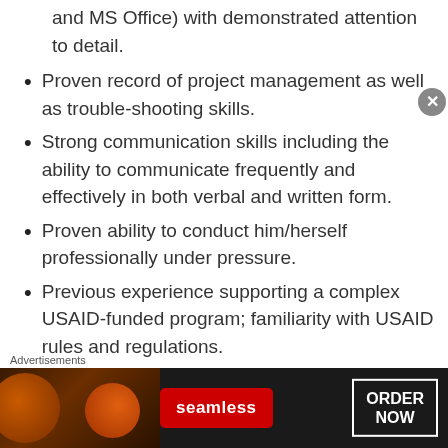and MS Office) with demonstrated attention to detail.
Proven record of project management as well as trouble-shooting skills.
Strong communication skills including the ability to communicate frequently and effectively in both verbal and written form.
Proven ability to conduct him/herself professionally under pressure.
Previous experience supporting a complex USAID-funded program; familiarity with USAID rules and regulations.
Previous experience as a full-time staff with
[Figure (screenshot): Seamless food delivery advertisement banner with pizza image, Seamless logo button, and ORDER NOW button]